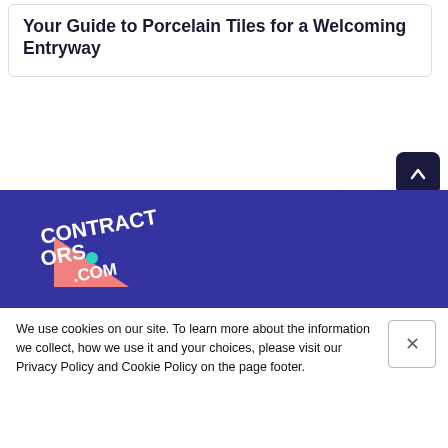Your Guide to Porcelain Tiles for a Welcoming Entryway
[Figure (logo): Scroll to top button — dark navy rounded square with white upward arrow]
[Figure (logo): Contractors.com logo on blue banner background with house peak shape and pink triangle accent]
MENU
Join as a pro
We use cookies on our site. To learn more about the information we collect, how we use it and your choices, please visit our Privacy Policy and Cookie Policy on the page footer.